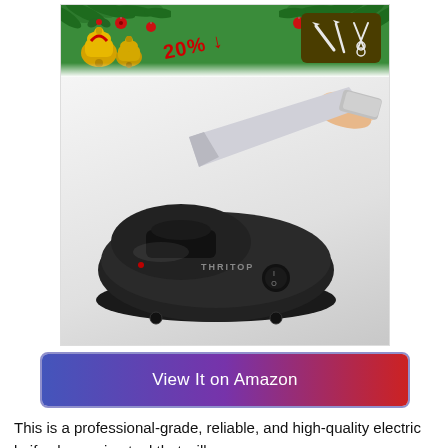[Figure (photo): Electric knife sharpener (THRITOP brand, black) with a knife being inserted, shown against a Christmas-themed banner with pine branches, gold bells, red ornaments, and a '20% off' discount label. A dark olive icon box with knife/scissors icons appears top right.]
View It on Amazon
This is a professional-grade, reliable, and high-quality electric knife sharpening tool that will